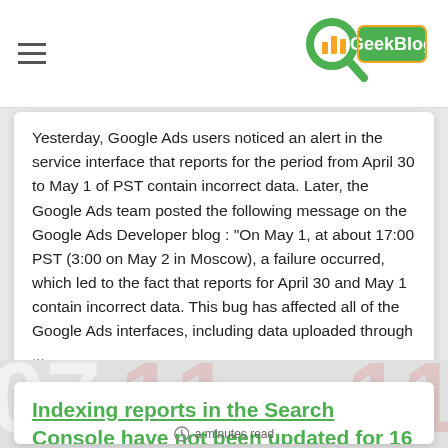GeekBlog
Yesterday, Google Ads users noticed an alert in the service interface that reports for the period from April 30 to May 1 of PST contain incorrect data. Later, the Google Ads team posted the following message on the Google Ads Developer blog : "On May 1, at about 17:00 PST (3:00 on May 2 in Moscow), a failure occurred, which led to the fact that reports for April 30 and May 1 contain incorrect data. This bug has affected all of the Google Ads interfaces, including data uploaded through ...
Indexing reports in the Search Console have not been updated for 16 days.
a minutes read